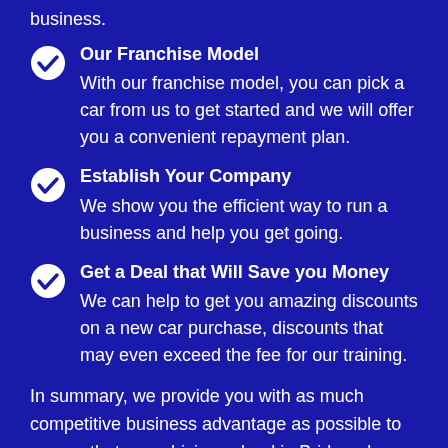business.
Our Franchise Model
With our franchise model, you can pick a car from us to get started and we will offer you a convenient repayment plan.
Establish Your Company
We show you the efficient way to run a business and help you get going.
Get a Deal that Will Save you Money
We can help to get you amazing discounts on a new car purchase, discounts that may even exceed the fee for our training.
In summary, we provide you with as much competitive business advantage as possible to ensure that your driving school in Bridgend succeeds.